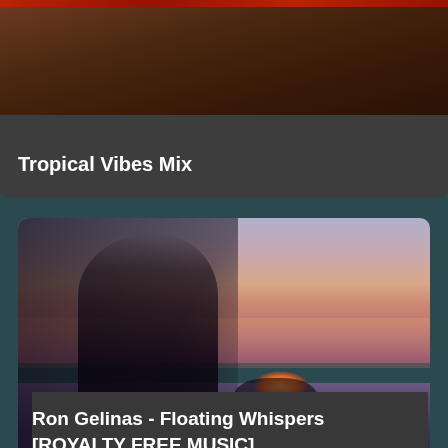[Figure (screenshot): Top card showing a music playlist thumbnail labeled Tropical Vibes Mix with a dark reddish image strip at top and dark card background]
Tropical Vibes Mix
[Figure (photo): Photo of a woman in profile holding a glowing object in her outstretched hands, with a dreamy purple-orange twilight background over water. Watermark reads 'ron gelinas' in yellow-green italic text.]
Ron Gelinas - Floating Whispers [ROYALTY FREE MUSIC]